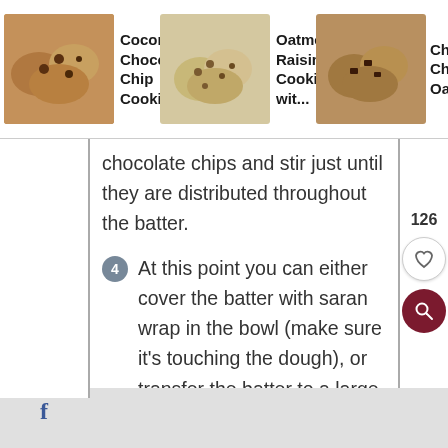Coconut Chocolate Chip Cookies | Oatmeal Raisin Cookies wit... | Chocolate Chunk Oatmeal...
chocolate chips and stir just until they are distributed throughout the batter.
4. At this point you can either cover the batter with saran wrap in the bowl (make sure it’s touching the dough), or transfer the batter to a large zip lock bag (I didn’t have enough room in my fridge for my mixing bowl, so I used the bag, which worked great). Keep the dough in the fridge for at least 24 hours or up to 36 hours for best results.